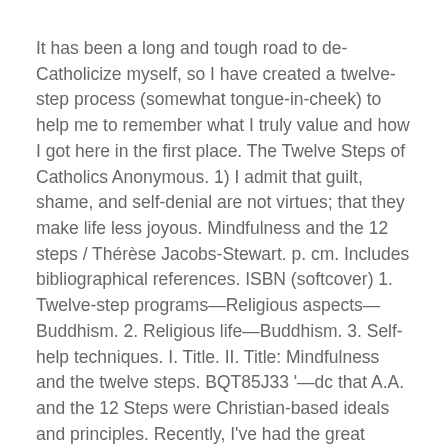It has been a long and tough road to de-Catholicize myself, so I have created a twelve-step process (somewhat tongue-in-cheek) to help me to remember what I truly value and how I got here in the first place. The Twelve Steps of Catholics Anonymous. 1) I admit that guilt, shame, and self-denial are not virtues; that they make life less joyous. Mindfulness and the 12 steps / Thérèse Jacobs-Stewart. p. cm. Includes bibliographical references. ISBN (softcover) 1. Twelve-step programs—Religious aspects—Buddhism. 2. Religious life—Buddhism. 3. Self-help techniques. I. Title. II. Title: Mindfulness and the twelve steps. BQT85J33 '—dc that A.A. and the 12 Steps were Christian-based ideals and principles. Recently, I've had the great pleasure of meeting Dick B., who is considered the leading A.A. historian of the world at this moment. Dick B. has written several books about the Biblical roots of A.A. through intensive and thorough research. In all of his books, Dick